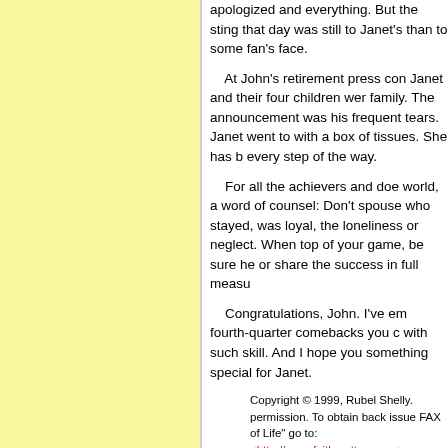apologized and everything. But the sting that day was still to Janet's face than to some fan's face.
At John's retirement press conference, Janet and their four children were his family. The announcement was met with his frequent tears. Janet went to the podium with a box of tissues. She has been with him every step of the way.
For all the achievers and doers of the world, a word of counsel: Don't forget the spouse who stayed, was loyal, and endured the loneliness or neglect. When you are at the top of your game, be sure he or she gets to share the success in full measure.
Congratulations, John. I've enjoyed your fourth-quarter comebacks you could execute with such skill. And I hope you have something special for Janet.
Copyright © 1999, Rubel Shelly. permission. To obtain back issues of "FAX of Life" go to: <http://www.faithmatters.com>